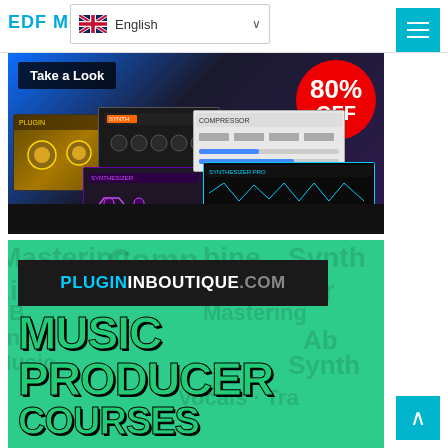EDF Motions
[Figure (screenshot): Language selector dropdown showing UK flag and 'English' with chevron]
[Figure (screenshot): Hamburger menu button (teal/cyan background, three white lines)]
[Figure (screenshot): Banner showing multiple synthesizer/plugin UIs on dark background with 'Take a Look' button and '80% OFF' red circle badge]
[Figure (screenshot): PlugInBoutique.com banner on green background with large text 'MUSIC PRODUCER COURSES' in green/black. Background has faded music production words: Mastering, Compression, Combine, Synth, Live, House, Ableton Push, Vocals, Trap, etc.]
[Figure (screenshot): Teal back-to-top arrow button at bottom right]